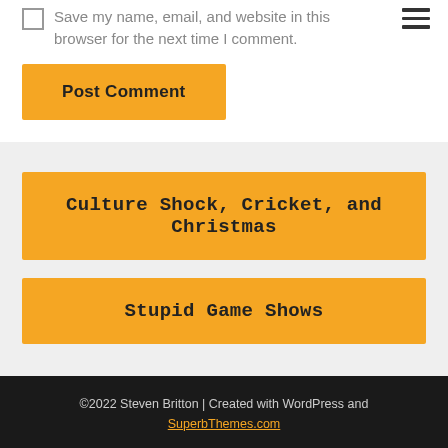Save my name, email, and website in this browser for the next time I comment.
Post Comment
Culture Shock, Cricket, and Christmas
Stupid Game Shows
©2022 Steven Britton | Created with WordPress and SuperbThemes.com